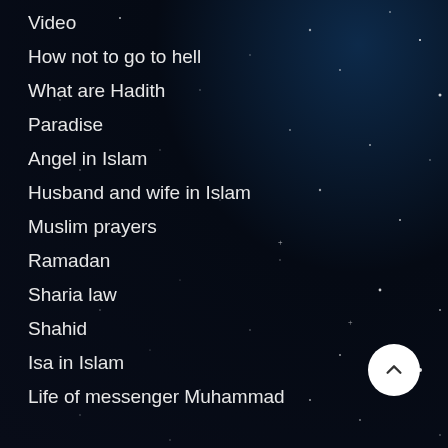Video
How not to go to hell
What are Hadith
Paradise
Angel in Islam
Husband and wife in Islam
Muslim prayers
Ramadan
Sharia law
Shahid
Isa in Islam
Life of messenger Muhammad